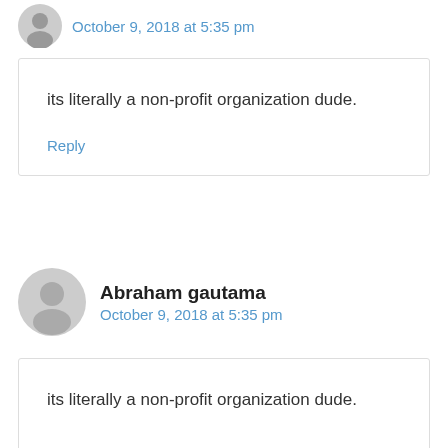October 9, 2018 at 5:35 pm
its literally a non-profit organization dude.
Reply
Abraham gautama
October 9, 2018 at 5:35 pm
its literally a non-profit organization dude.